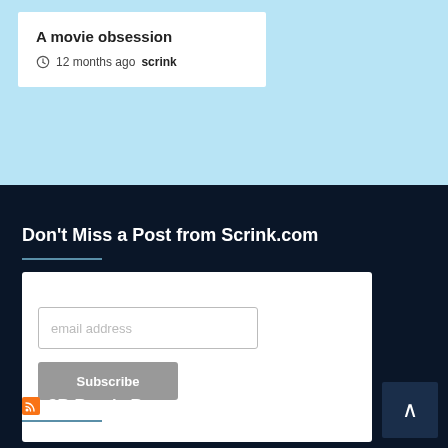A movie obsession
12 months ago  scrink
Don't Miss a Post from Scrink.com
[Figure (screenshot): Email subscription form with email address input field and Subscribe button]
3B Brae's Brown Bags